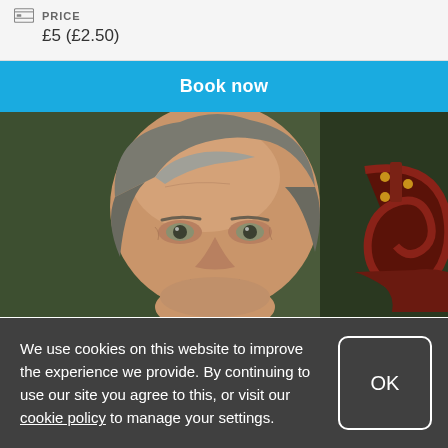PRICE £5 (£2.50)
Book now
[Figure (photo): Close-up portrait of an older man with grey hair holding a cello, photographed against a dark green background.]
We use cookies on this website to improve the experience we provide. By continuing to use our site you agree to this, or visit our cookie policy to manage your settings.